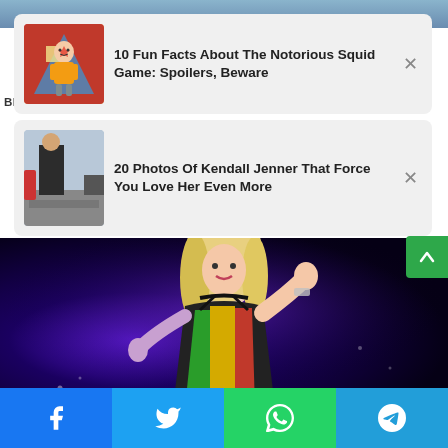[Figure (screenshot): Partial top strip of background images]
10 Fun Facts About The Notorious Squid Game: Spoilers, Beware
4 Actors Who Turned Into Gorgeous Adults
BRAINBERRIES
20 Photos Of Kendall Jenner That Force You Love Her Even More
[Figure (photo): Main photo of a woman with blonde hair wearing a colorful rainbow-patterned outfit performing on stage with blue/purple lighting]
[Figure (infographic): Share bar at bottom with Facebook, Twitter, WhatsApp, and Telegram buttons]